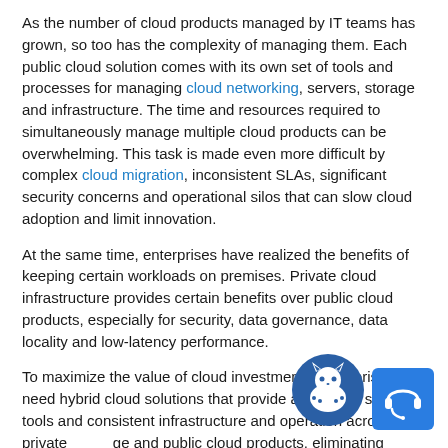As the number of cloud products managed by IT teams has grown, so too has the complexity of managing them. Each public cloud solution comes with its own set of tools and processes for managing cloud networking, servers, storage and infrastructure. The time and resources required to simultaneously manage multiple cloud products can be overwhelming. This task is made even more difficult by complex cloud migration, inconsistent SLAs, significant security concerns and operational silos that can slow cloud adoption and limit innovation.
At the same time, enterprises have realized the benefits of keeping certain workloads on premises. Private cloud infrastructure provides certain benefits over public cloud products, especially for security, data governance, data locality and low-latency performance.
To maximize the value of cloud investments, enterprises need hybrid cloud solutions that provide a common set of tools and consistent infrastructure and operation across private and public cloud products, eliminating complexity while still enabling workloads to be deployed to the ideal cloud environment.
[Figure (logo): Cat logo icon, round blue background with white cat silhouette]
[Figure (illustration): Blue chat/headset support button in bottom right corner]